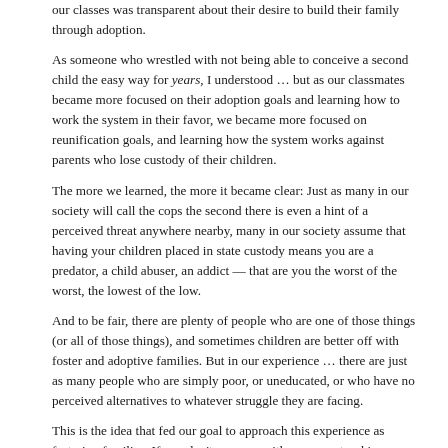our classes was transparent about their desire to build their family through adoption.
As someone who wrestled with not being able to conceive a second child the easy way for years, I understood … but as our classmates became more focused on their adoption goals and learning how to work the system in their favor, we became more focused on reunification goals, and learning how the system works against parents who lose custody of their children.
The more we learned, the more it became clear: Just as many in our society will call the cops the second there is even a hint of a perceived threat anywhere nearby, many in our society assume that having your children placed in state custody means you are a predator, a child abuser, an addict — that are you the worst of the worst, the lowest of the low.
And to be fair, there are plenty of people who are one of those things (or all of those things), and sometimes children are better off with foster and adoptive families. But in our experience … there are just as many people who are simply poor, or uneducated, or who have no perceived alternatives to whatever struggle they are facing.
This is the idea that fed our goal to approach this experience as fostering families: If you don't grow up with someone teaching you how to successfully pull off what someone with a better life situation or background…